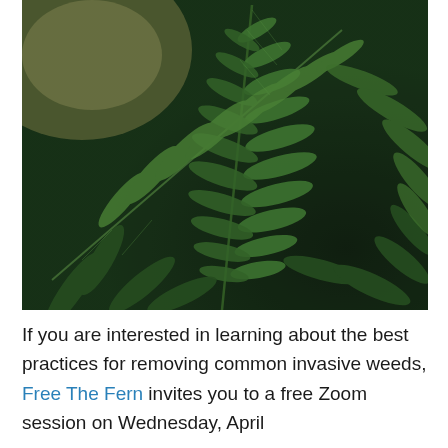[Figure (photo): Close-up photograph of green fern fronds against a blurred natural background with soft light in upper left]
If you are interested in learning about the best practices for removing common invasive weeds, Free The Fern invites you to a free Zoom session on Wednesday, April